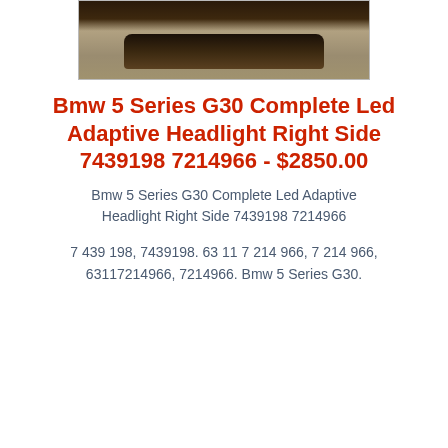[Figure (photo): Photo of BMW 5 Series G30 headlight component, partially visible at top of page]
Bmw 5 Series G30 Complete Led Adaptive Headlight Right Side 7439198 7214966 - $2850.00
Bmw 5 Series G30 Complete Led Adaptive Headlight Right Side 7439198 7214966
7 439 198, 7439198. 63 11 7 214 966, 7 214 966, 63117214966, 7214966. Bmw 5 Series G30.